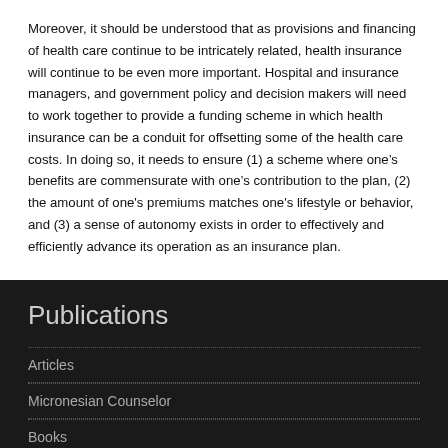Moreover, it should be understood that as provisions and financing of health care continue to be intricately related, health insurance will continue to be even more important. Hospital and insurance managers, and government policy and decision makers will need to work together to provide a funding scheme in which health insurance can be a conduit for offsetting some of the health care costs. In doing so, it needs to ensure (1) a scheme where one's benefits are commensurate with one's contribution to the plan, (2) the amount of one's premiums matches one's lifestyle or behavior, and (3) a sense of autonomy exists in order to effectively and efficiently advance its operation as an insurance plan.
Publications
Articles
Micronesian Counselor
Books
MicSem Discussions